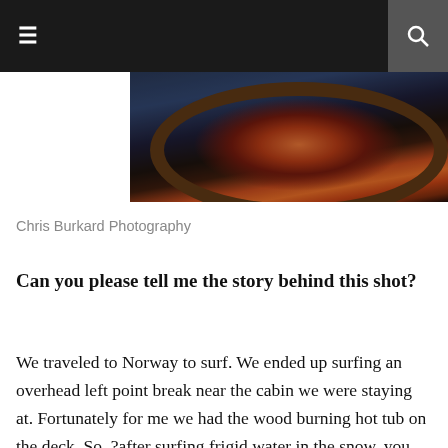☰  🔍
[Figure (photo): Photograph of a wood burning hot tub on a deck, viewed from above, with fire visible in the center and a blue-toned sky and cabin surroundings in the background]
Chris Burkard Photography
Can you please tell me the story behind this shot?
We traveled to Norway to surf. We ended up surfing an overhead left point break near the cabin we were staying at. Fortunately for me we had the wood burning hot tub on the deck. So, ?after surfing frigid water in the snow, you could find me chilling and drinking beers in the hot tub. I'll be honest, I was a bit